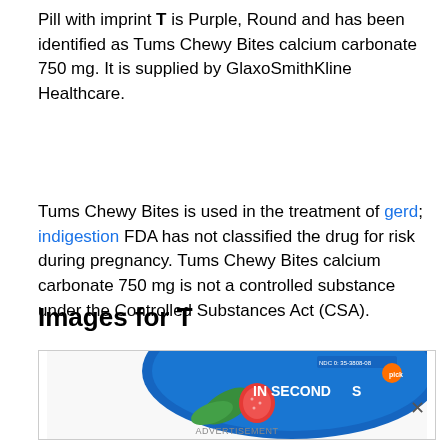Pill with imprint T is Purple, Round and has been identified as Tums Chewy Bites calcium carbonate 750 mg. It is supplied by GlaxoSmithKline Healthcare.
Tums Chewy Bites is used in the treatment of gerd; indigestion FDA has not classified the drug for risk during pregnancy. Tums Chewy Bites calcium carbonate 750 mg is not a controlled substance under the Controlled Substances Act (CSA).
Images for T
[Figure (photo): Partial image of a Tums Chewy Bites product package, blue background with strawberry imagery and text 'IN SECONDS' visible, with an advertisement label below.]